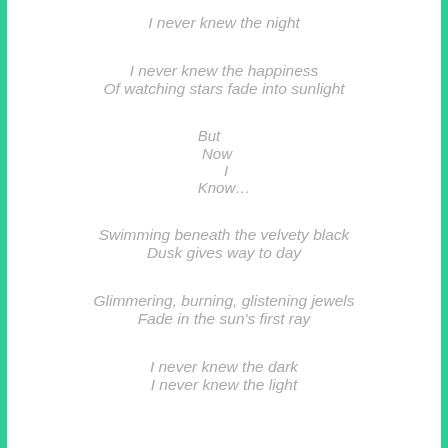I never knew the night
I never knew the happiness
Of watching stars fade into sunlight
But
Now
I
Know…
Swimming beneath the velvety black
Dusk gives way to day
Glimmering, burning, glistening jewels
Fade in the sun's first ray
I never knew the dark
I never knew the light